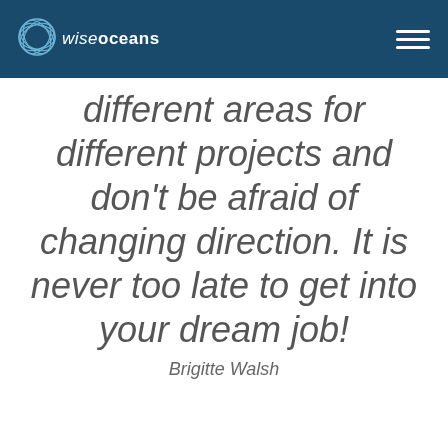[Figure (logo): Wise Oceans logo with circular fish/wave graphic icon and text 'wiseoceans' on dark blue header background, with hamburger menu icon on the right]
different areas for different projects and don't be afraid of changing direction. It is never too late to get into your dream job!
Brigitte Walsh